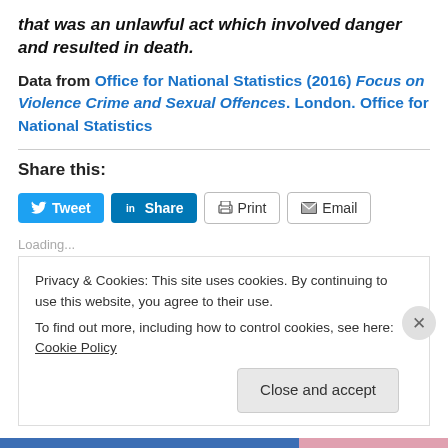that was an unlawful act which involved danger and resulted in death.
Data from Office for National Statistics (2016) Focus on Violence Crime and Sexual Offences. London. Office for National Statistics
Share this:
Loading...
Privacy & Cookies: This site uses cookies. By continuing to use this website, you agree to their use.
To find out more, including how to control cookies, see here: Cookie Policy